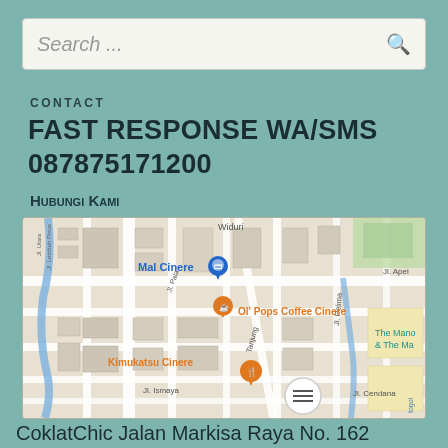Search ...
CONTACT
FAST RESPONSE WA/SMS 087875171200
Hubungi Kami
[Figure (map): Google Maps screenshot showing Cinere area with landmarks: Mal Cinere, Ol' Pops Coffee Cinere, Kimukatsu Cinere, streets including Jl. Lembah Pinus, Jl. Pala, Jl. Apel, Jl. Tanjung, Jl. Delima, Jl. Ismaya, Jl. Cendana, and The Mano & The Ma label]
CoklatChic Jalan Markisa Raya No. 162